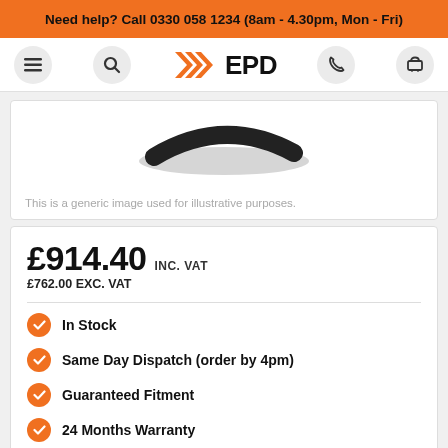Need help? Call 0330 058 1234 (8am - 4.30pm, Mon - Fri)
[Figure (logo): EPD logo with orange chevron/arrow graphic and bold EPD text, navigation bar with hamburger menu, search, phone, and basket icons]
[Figure (photo): Partial product image showing a dark curved component against white background]
This is a generic image used for illustrative purposes.
£914.40 INC. VAT
£762.00 EXC. VAT
In Stock
Same Day Dispatch (order by 4pm)
Guaranteed Fitment
24 Months Warranty